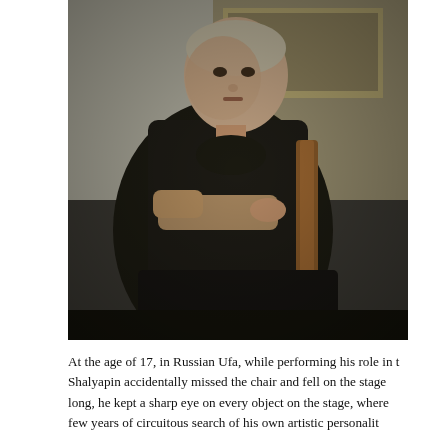[Figure (illustration): A painted portrait of a young man dressed in black, with arms partially crossed, leaning against a wooden chair back. The background is dark and painterly. The figure has a serious expression and pale complexion.]
At the age of 17, in Russian Ufa, while performing his role in t Shalyapin accidentally missed the chair and fell on the stage long, he kept a sharp eye on every object on the stage, where few years of circuitous search of his own artistic personalit